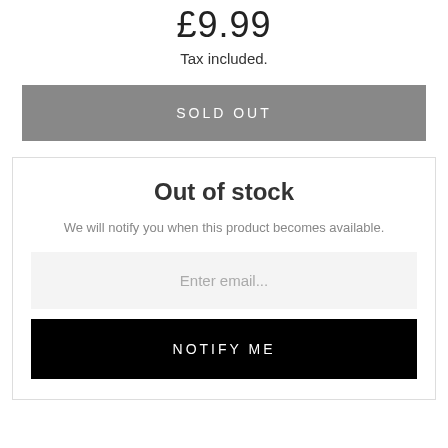£9.99
Tax included.
SOLD OUT
Out of stock
We will notify you when this product becomes available.
Enter email...
NOTIFY ME